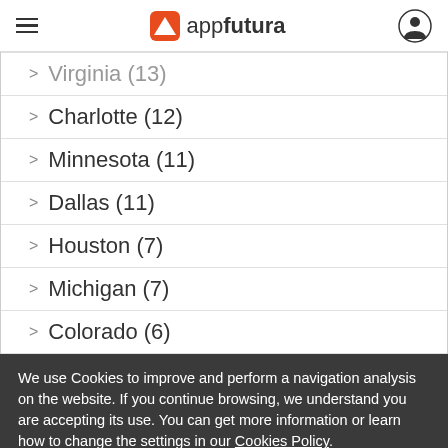appfutura
Virginia (13)
Charlotte (12)
Minnesota (11)
Dallas (11)
Houston (7)
Michigan (7)
Colorado (6)
We use Cookies to improve and perform a navigation analysis on the website. If you continue browsing, we understand you are accepting its use. You can get more information or learn how to change the settings in our Cookies Policy.